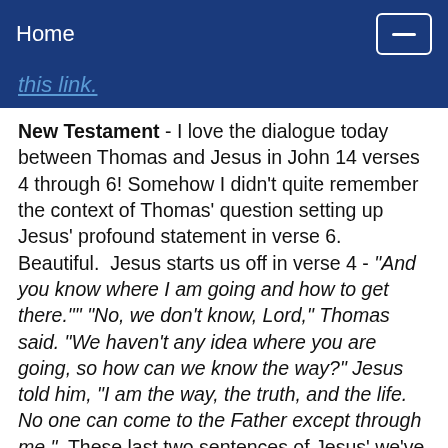Home
this link.
New Testament - I love the dialogue today between Thomas and Jesus in John 14 verses 4 through 6! Somehow I didn't quite remember the context of Thomas' question setting up Jesus' profound statement in verse 6.  Beautiful.  Jesus starts us off in verse 4 - "And you know where I am going and how to get there."" "No, we don't know, Lord," Thomas said. "We haven't any idea where you are going, so how can we know the way?" Jesus told him, "I am the way, the truth, and the life. No one can come to the Father except through me."  These last two sentences of Jesus' we've probably all heard many times.  But how often have we asked Thomas' question either to ourselves or to God or to now one in particular - "how can I know the way?"  Jesus answers this for us perfectly.  Have you ever felt in your life that you didn't know the way? Do you believe